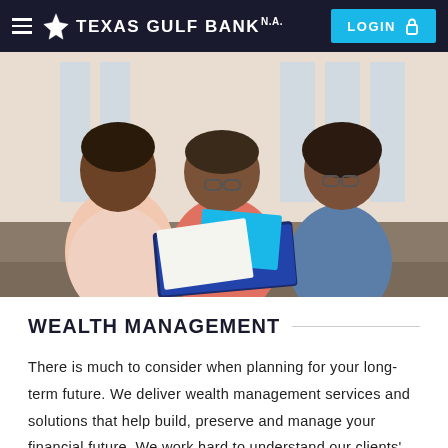Texas Gulf Bank N.A. — Navigation bar with LOGIN button
[Figure (photo): Three people sitting together reviewing documents — a younger man in a light pink shirt, an older man in a salmon shirt, and an older woman in a blue denim shirt, in a home setting with bright windows in the background.]
WEALTH MANAGEMENT
There is much to consider when planning for your long-term future. We deliver wealth management services and solutions that help build, preserve and manage your financial future. We work hard to understand our clients'